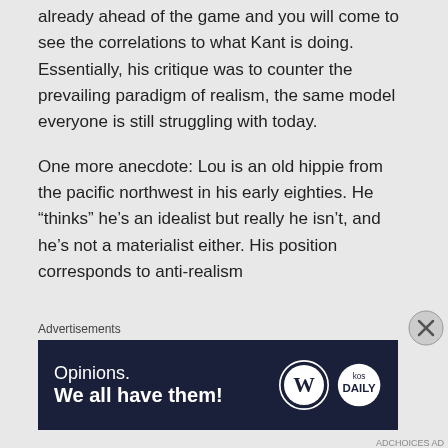already ahead of the game and you will come to see the correlations to what Kant is doing. Essentially, his critique was to counter the prevailing paradigm of realism, the same model everyone is still struggling with today.
One more anecdote: Lou is an old hippie from the pacific northwest in his early eighties. He “thinks” he’s an idealist but really he isn’t, and he’s not a materialist either. His position corresponds to anti-realism
Advertisements
[Figure (other): Advertisement banner: dark navy background with text 'Opinions. We all have them!' in white, alongside WordPress and Daily Kos logos on the right.]